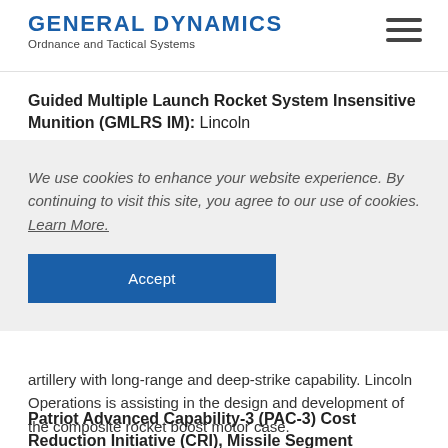GENERAL DYNAMICS Ordnance and Tactical Systems
Guided Multiple Launch Rocket System Insensitive Munition (GMLRS IM): Lincoln
We use cookies to enhance your website experience. By continuing to visit this site, you agree to our use of cookies. Learn More.
Accept
artillery with long-range and deep-strike capability. Lincoln Operations is assisting in the design and development of the composite rocket boost motor case.
Patriot Advanced Capability-3 (PAC-3) Cost Reduction Initiative (CRI), Missile Segment